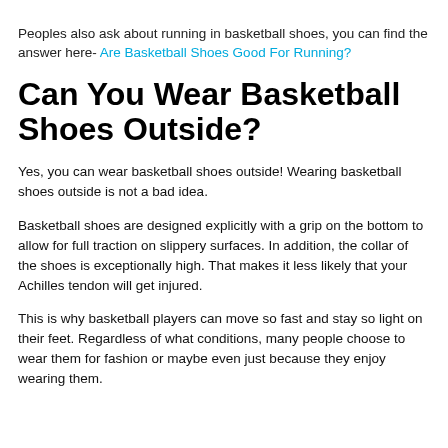Peoples also ask about running in basketball shoes, you can find the answer here- Are Basketball Shoes Good For Running?
Can You Wear Basketball Shoes Outside?
Yes, you can wear basketball shoes outside! Wearing basketball shoes outside is not a bad idea.
Basketball shoes are designed explicitly with a grip on the bottom to allow for full traction on slippery surfaces. In addition, the collar of the shoes is exceptionally high. That makes it less likely that your Achilles tendon will get injured.
This is why basketball players can move so fast and stay so light on their feet. Regardless of what conditions, many people choose to wear them for fashion or maybe even just because they enjoy wearing them.